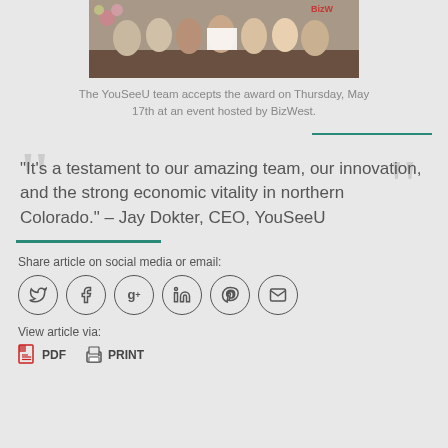[Figure (photo): Group photo of the YouSeeU team accepting an award at an event hosted by BizWest]
The YouSeeU team accepts the award on Thursday, May 17th at an event hosted by BizWest.
"It's a testament to our amazing team, our innovation, and the strong economic vitality in northern Colorado." – Jay Dokter, CEO, YouSeeU
Share article on social media or email:
[Figure (infographic): Social media sharing icons: Twitter, Facebook, Google+, LinkedIn, Pinterest, Email]
View article via:
[Figure (infographic): PDF and Print links with icons]